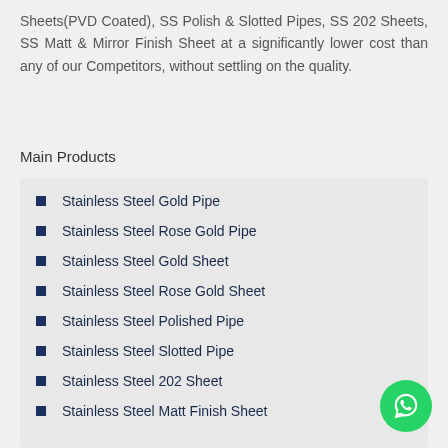Sheets(PVD Coated), SS Polish & Slotted Pipes, SS 202 Sheets, SS Matt & Mirror Finish Sheet at a significantly lower cost than any of our Competitors, without settling on the quality.
Main Products
Stainless Steel Gold Pipe
Stainless Steel Rose Gold Pipe
Stainless Steel Gold Sheet
Stainless Steel Rose Gold Sheet
Stainless Steel Polished Pipe
Stainless Steel Slotted Pipe
Stainless Steel 202 Sheet
Stainless Steel Matt Finish Sheet